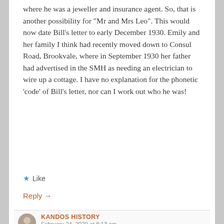where he was a jeweller and insurance agent. So, that is another possibility for “Mr and Mrs Leo”. This would now date Bill’s letter to early December 1930. Emily and her family I think had recently moved down to Consul Road, Brookvale, where in September 1930 her father had advertised in the SMH as needing an electrician to wire up a cottage. I have no explanation for the phonetic ‘code’ of Bill’s letter, nor can I work out who he was!
★ Like
Reply →
KANDOS HISTORY
February 24, 2020 at 8:13 am